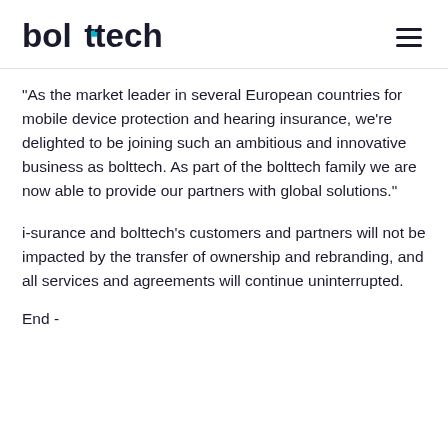bolttech
“As the market leader in several European countries for mobile device protection and hearing insurance, we’re delighted to be joining such an ambitious and innovative business as bolttech. As part of the bolttech family we are now able to provide our partners with global solutions.”
i-surance and bolttech’s customers and partners will not be impacted by the transfer of ownership and rebranding, and all services and agreements will continue uninterrupted.
End -